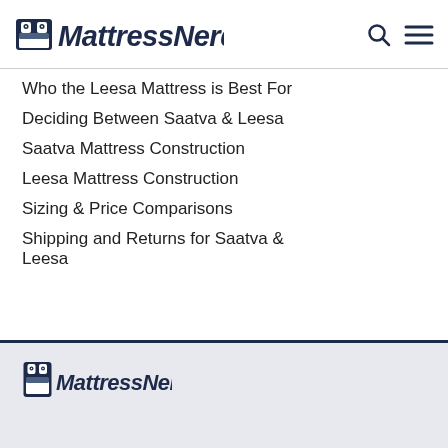MattressNerd
Who the Leesa Mattress is Best For
Deciding Between Saatva & Leesa
Saatva Mattress Construction
Leesa Mattress Construction
Sizing & Price Comparisons
Shipping and Returns for Saatva & Leesa
MattressNerd